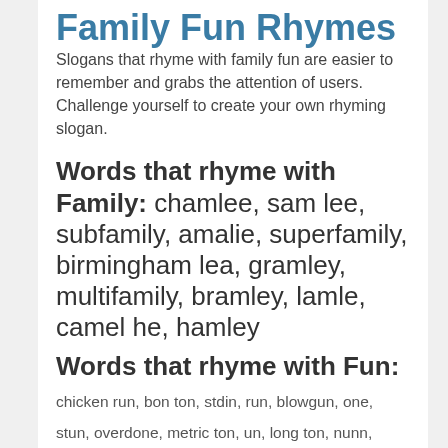Family Fun Rhymes
Slogans that rhyme with family fun are easier to remember and grabs the attention of users. Challenge yourself to create your own rhyming slogan.
Words that rhyme with Family: chamlee, sam lee, subfamily, amalie, superfamily, birmingham lea, gramley, multifamily, bramley, lamle, camel he, hamley
Words that rhyme with Fun: chicken run, bon ton, stdin, run, blowgun, one, stun, overdone, metric ton, un, long ton, nunn, spray gun, redone, shotgun, quaker gun, handgun, gatling gun, lun, done, hyun, loved one, ton, thun, midnight